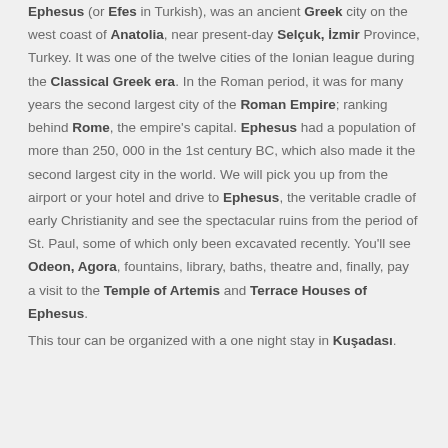Ephesus (or Efes in Turkish), was an ancient Greek city on the west coast of Anatolia, near present-day Selçuk, İzmir Province, Turkey. It was one of the twelve cities of the Ionian league during the Classical Greek era. In the Roman period, it was for many years the second largest city of the Roman Empire; ranking behind Rome, the empire's capital. Ephesus had a population of more than 250, 000 in the 1st century BC, which also made it the second largest city in the world. We will pick you up from the airport or your hotel and drive to Ephesus, the veritable cradle of early Christianity and see the spectacular ruins from the period of St. Paul, some of which only been excavated recently. You'll see Odeon, Agora, fountains, library, baths, theatre and, finally, pay a visit to the Temple of Artemis and Terrace Houses of Ephesus. This tour can be organized with a one night stay in Kuşadası.